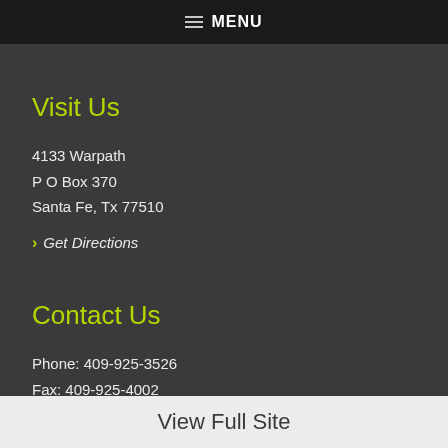MENU
Visit Us
4133 Warpath
P O Box 370
Santa Fe, Tx 77510
Get Directions
Contact Us
Phone: 409-925-3526
Fax: 409-925-4002
View Full Site